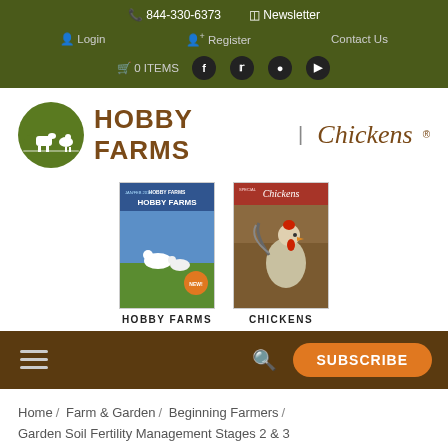844-330-6373  Newsletter  Login  Register  Contact Us  0 ITEMS
[Figure (logo): Hobby Farms and Chickens magazine logo with green circle icon featuring farm animals]
[Figure (photo): Hobby Farms magazine cover showing geese/swans in a field]
HOBBY FARMS
[Figure (photo): Chickens magazine cover showing a rooster in a field]
CHICKENS
SUBSCRIBE
Home / Farm & Garden / Beginning Farmers / Garden Soil Fertility Management Stages 2 & 3